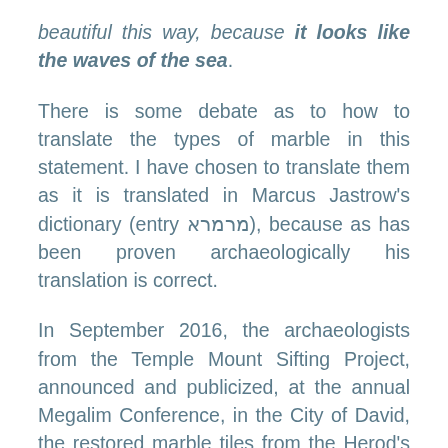beautiful this way, because it looks like the waves of the sea.
There is some debate as to how to translate the types of marble in this statement. I have chosen to translate them as it is translated in Marcus Jastrow's dictionary (entry מרמרא), because as has been proven archaeologically his translation is correct.
In September 2016, the archaeologists from the Temple Mount Sifting Project, announced and publicized, at the annual Megalim Conference, in the City of David, the restored marble tiles from the Herod's Second Temple building. The tiles have been restored over a period of nine years by Frankie Snyder, one of the archaeologists on the project. This find was externally exciting for me, because first of all I did not have to